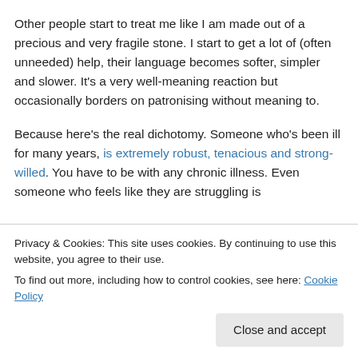Other people start to treat me like I am made out of a precious and very fragile stone. I start to get a lot of (often unneeded) help, their language becomes softer, simpler and slower. It's a very well-meaning reaction but occasionally borders on patronising without meaning to.
Because here's the real dichotomy. Someone who's been ill for many years, is extremely robust, tenacious and strong-willed. You have to be with any chronic illness. Even someone who feels like they are struggling is
Privacy & Cookies: This site uses cookies. By continuing to use this website, you agree to their use. To find out more, including how to control cookies, see here: Cookie Policy